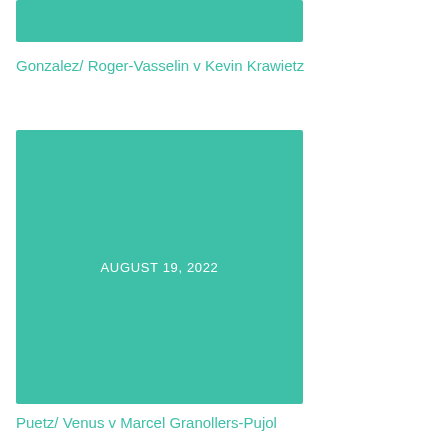[Figure (other): Teal/green colored rectangular image block at top of page]
Gonzalez/ Roger-Vasselin v Kevin Krawietz
[Figure (other): Teal/green colored rectangular image block with date text 'AUGUST 19, 2022' centered on it]
Puetz/ Venus v Marcel Granollers-Pujol